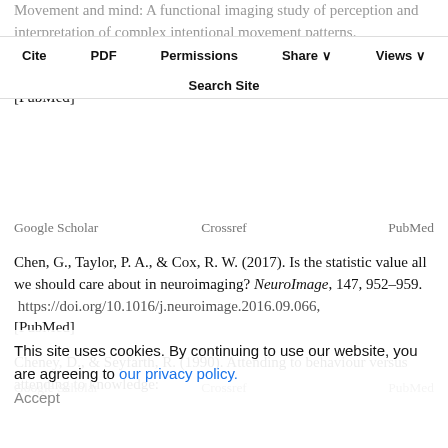Movement and mind: A functional imaging study of perception and interpretation of complex intentional movement patterns. NeuroImage, 12(3), 314–325. https://doi.org/10.1006/nimg.2000.0612, [PubMed]
Google Scholar   Crossref   PubMed
Chen, G., Taylor, P. A., & Cox, R. W. (2017). Is the statistic value all we should care about in neuroimaging? NeuroImage, 147, 952–959. https://doi.org/10.1016/j.neuroimage.2016.09.066, [PubMed]
Google Scholar   Crossref   PubMed
Cheney, D., & Seyfarth, R. (1990). Attending to behaviour versus attending to knowledge:
This site uses cookies. By continuing to use our website, you are agreeing to our privacy policy.
Accept